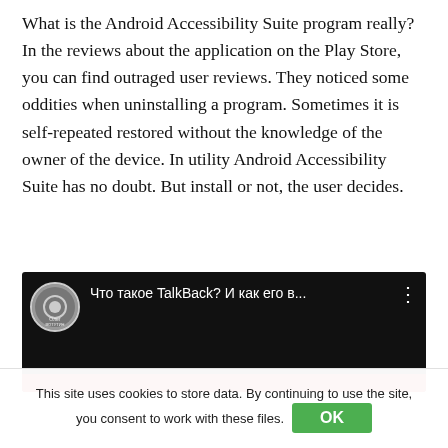What is the Android Accessibility Suite program really? In the reviews about the application on the Play Store, you can find outraged user reviews. They noticed some oddities when uninstalling a program. Sometimes it is self-repeated restored without the knowledge of the owner of the device. In utility Android Accessibility Suite has no doubt. But install or not, the user decides.
[Figure (screenshot): YouTube video thumbnail showing a dark background with a circular avatar of 'Олег Вотутин' channel and the video title 'Что такое TalkBack? И как его в...' with a three-dot menu icon]
This site uses cookies to store data. By continuing to use the site, you consent to work with these files. OK